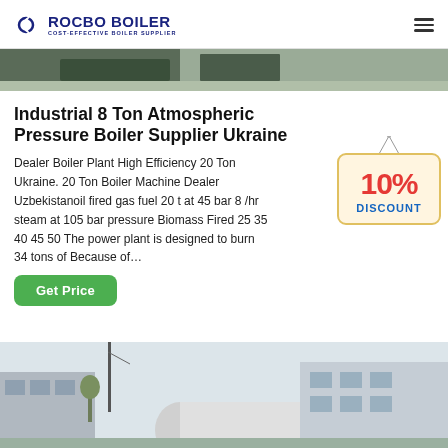ROCBO BOILER — COST-EFFECTIVE BOILER SUPPLIER
[Figure (photo): Top partial image of a boiler manufacturing facility interior]
Industrial 8 Ton Atmospheric Pressure Boiler Supplier Ukraine
Dealer Boiler Plant High Efficiency 20 Ton Ukraine. 20 Ton Boiler Machine Dealer Uzbekistanoil fired gas fuel 20 t at 45 bar 8 /hr steam at 105 bar pressure Biomass Fired 25 35 40 45 50 The power plant is designed to burn 34 tons of Because of…
[Figure (infographic): 10% DISCOUNT badge hanging sign]
[Figure (photo): Bottom partial image of a large industrial boiler outdoors near a building]